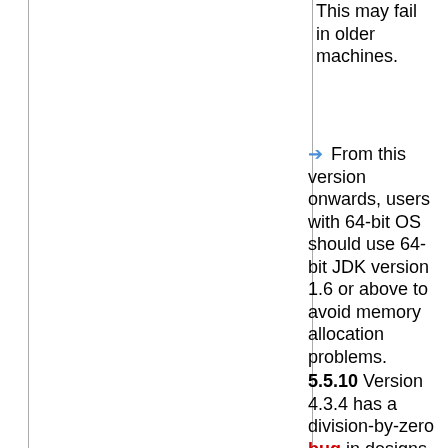This may fail in older machines.
From this version onwards, users with 64-bit OS should use 64-bit JDK version 1.6 or above to avoid memory allocation problems.
5.5.10 Version 4.3.4 has a division-by-zero bug in designs where